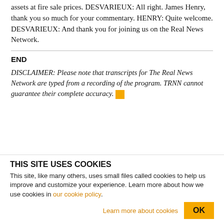assets at fire sale prices. DESVARIEUX: All right. James Henry, thank you so much for your commentary. HENRY: Quite welcome. DESVARIEUX: And thank you for joining us on the Real News Network.
END
DISCLAIMER: Please note that transcripts for The Real News Network are typed from a recording of the program. TRNN cannot guarantee their complete accuracy.
THIS SITE USES COOKIES
This site, like many others, uses small files called cookies to help us improve and customize your experience. Learn more about how we use cookies in our cookie policy.
Learn more about cookies
OK